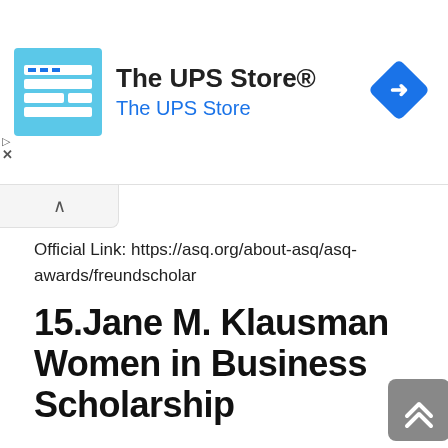[Figure (advertisement): The UPS Store advertisement banner with logo, store name, and navigation arrow icon]
Official Link: https://asq.org/about-asq/asq-awards/freundscholar
15.Jane M. Klausman Women in Business Scholarship
The Jane M. Klausman Women in Business Scholarship is a yearly scholarship supported by Zonta International. The